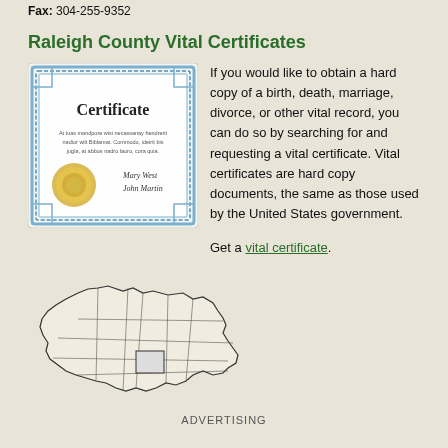Fax: 304-255-9352
Raleigh County Vital Certificates
[Figure (illustration): Illustration of a certificate document with decorative blue border, gold seal, and signature lines]
If you would like to obtain a hard copy of a birth, death, marriage, divorce, or other vital record, you can do so by searching for and requesting a vital certificate. Vital certificates are hard copy documents, the same as those used by the United States government.

Get a vital certificate.
[Figure (map): Outline map of West Virginia showing county boundaries with Raleigh County highlighted]
ADVERTISING